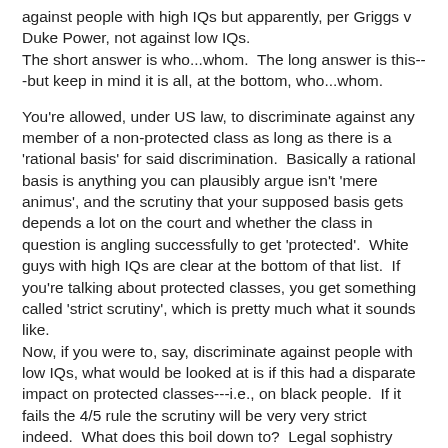against people with high IQs but apparently, per Griggs v Duke Power, not against low IQs.
The short answer is who...whom.  The long answer is this---but keep in mind it is all, at the bottom, who...whom.
You're allowed, under US law, to discriminate against any member of a non-protected class as long as there is a 'rational basis' for said discrimination.  Basically a rational basis is anything you can plausibly argue isn't 'mere animus', and the scrutiny that your supposed basis gets depends a lot on the court and whether the class in question is angling successfully to get 'protected'.  White guys with high IQs are clear at the bottom of that list.  If you're talking about protected classes, you get something called 'strict scrutiny', which is pretty much what it sounds like.
Now, if you were to, say, discriminate against people with low IQs, what would be looked at is if this had a disparate impact on protected classes---i.e., on black people.  If it fails the 4/5 rule the scrutiny will be very very strict indeed.  What does this boil down to?  Legal sophistry surrounding the central pillar of the system...who...whom.